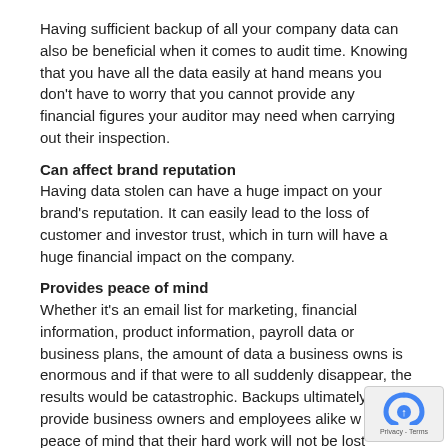Having sufficient backup of all your company data can also be beneficial when it comes to audit time. Knowing that you have all the data easily at hand means you don't have to worry that you cannot provide any financial figures your auditor may need when carrying out their inspection.
Can affect brand reputation
Having data stolen can have a huge impact on your brand's reputation. It can easily lead to the loss of customer and investor trust, which in turn will have a huge financial impact on the company.
Provides peace of mind
Whether it's an email list for marketing, financial information, product information, payroll data or business plans, the amount of data a business owns is enormous and if that were to all suddenly disappear, the results would be catastrophic. Backups ultimately provide business owners and employees alike w... peace of mind that their hard work will not be lost overnig...
Regular backups act as an insurance policy for your business.